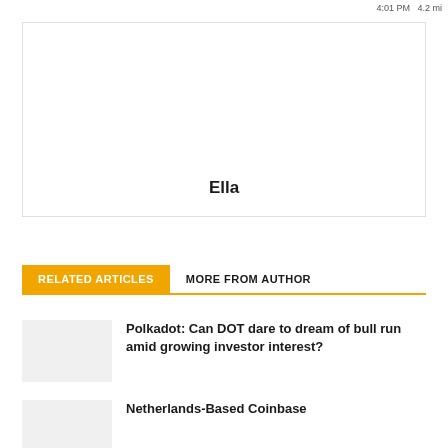4:01 PM  4.2 mi
[Figure (photo): Author photo placeholder box with name 'Ella' at the bottom center]
RELATED ARTICLES   MORE FROM AUTHOR
Polkadot: Can DOT dare to dream of bull run amid growing investor interest?
Netherlands-Based Coinbase